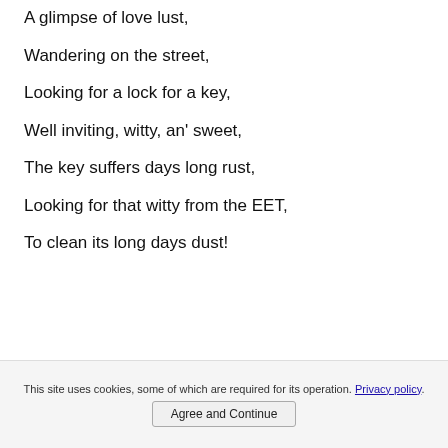A glimpse of love lust,
Wandering on the street,
Looking for a lock for a key,
Well inviting, witty, an' sweet,
The key suffers days long rust,
Looking for that witty from the EET,
To clean its long days dust!
This site uses cookies, some of which are required for its operation. Privacy policy. Agree and Continue